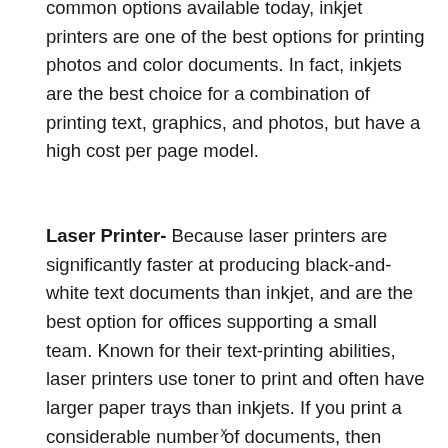common options available today, inkjet printers are one of the best options for printing photos and color documents. In fact, inkjets are the best choice for a combination of printing text, graphics, and photos, but have a high cost per page model.
Laser Printer- Because laser printers are significantly faster at producing black-and-white text documents than inkjet, and are the best option for offices supporting a small team. Known for their text-printing abilities, laser printers use toner to print and often have larger paper trays than inkjets. If you print a considerable number of documents, then laser printers will almost always
x